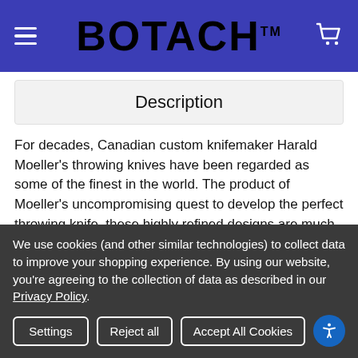BOTACH™
Description
For decades, Canadian custom knifemaker Harald Moeller's throwing knives have been regarded as some of the finest in the world. The product of Moeller's uncompromising quest to develop the perfect throwing knife, these highly refined designs are much easier to throw and stick consistently than their competition. Through an exclusive arrangement with Moeller, Spyderco is now proud to
We use cookies (and other similar technologies) to collect data to improve your shopping experience. By using our website, you're agreeing to the collection of data as described in our Privacy Policy.
Settings | Reject all | Accept All Cookies